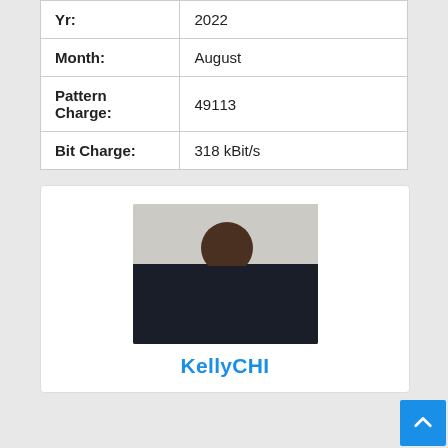| Yr: | 2022 |
| Month: | August |
| Pattern Charge: | 49113 |
| Bit Charge: | 318 kBit/s |
[Figure (photo): Portrait photo of a young Black man wearing a dark navy hoodie, arms crossed, light background]
KellyCHI